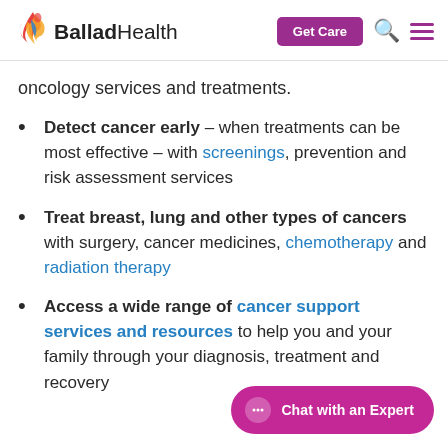Ballad Health — Get Care [navigation header]
oncology services and treatments.
Detect cancer early – when treatments can be most effective – with screenings, prevention and risk assessment services
Treat breast, lung and other types of cancers with surgery, cancer medicines, chemotherapy and radiation therapy
Access a wide range of cancer support services and resources to help you and your family through your diagnosis, treatment and recovery